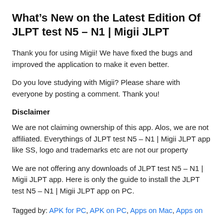What’s New on the Latest Edition Of JLPT test N5 – N1 | Migii JLPT
Thank you for using Migii! We have fixed the bugs and improved the application to make it even better.
Do you love studying with Migii? Please share with everyone by posting a comment. Thank you!
Disclaimer
We are not claiming ownership of this app. Alos, we are not affiliated. Everythings of JLPT test N5 – N1 | Migii JLPT app like SS, logo and trademarks etc are not our property
We are not offering any downloads of JLPT test N5 – N1 | Migii JLPT app. Here is only the guide to install the JLPT test N5 – N1 | Migii JLPT app on PC.
Tagged by: APK for PC, APK on PC, Apps on Mac, Apps on